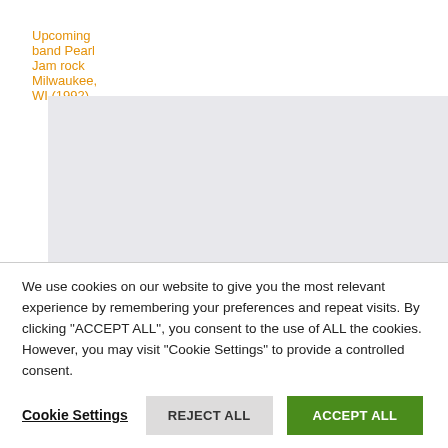Upcoming band Pearl Jam rock Milwaukee, WI (1992)
[Figure (photo): Gray placeholder rectangle representing an embedded image or video of Pearl Jam performing in Milwaukee, WI in 1992]
We use cookies on our website to give you the most relevant experience by remembering your preferences and repeat visits. By clicking "ACCEPT ALL", you consent to the use of ALL the cookies. However, you may visit "Cookie Settings" to provide a controlled consent.
Cookie Settings   REJECT ALL   ACCEPT ALL